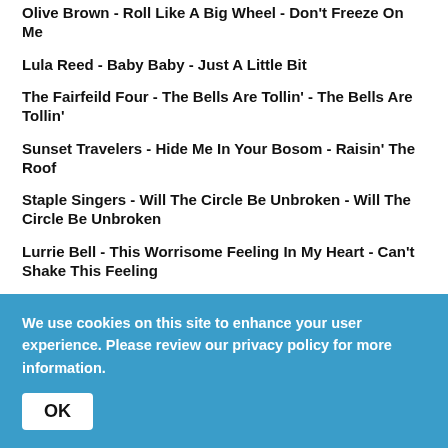Olive Brown - Roll Like A Big Wheel - Don't Freeze On Me
Lula Reed - Baby Baby - Just A Little Bit
The Fairfeild Four - The Bells Are Tollin' - The Bells Are Tollin'
Sunset Travelers - Hide Me In Your Bosom - Raisin' The Roof
Staple Singers - Will The Circle Be Unbroken - Will The Circle Be Unbroken
Lurrie Bell - This Worrisome Feeling In My Heart - Can't Shake This Feeling
Bobby Bland - Honey Child - Turn On Your Love Light
We use cookies on this site to enhance your user experience. Please review our privacy policy for more information.
OK